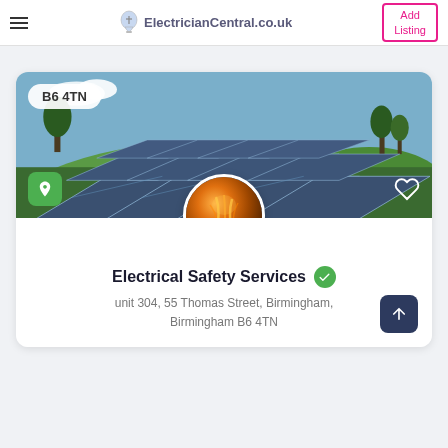ElectricianCentral.co.uk — Add Listing
[Figure (screenshot): Solar panel installation with green hills and blue sky background, with postcode badge B6 4TN, location pin button, and heart/favorite button overlay]
[Figure (photo): Circular profile photo of glowing Edison light bulbs with warm amber tones]
Electrical Safety Services
unit 304, 55 Thomas Street, Birmingham, Birmingham B6 4TN